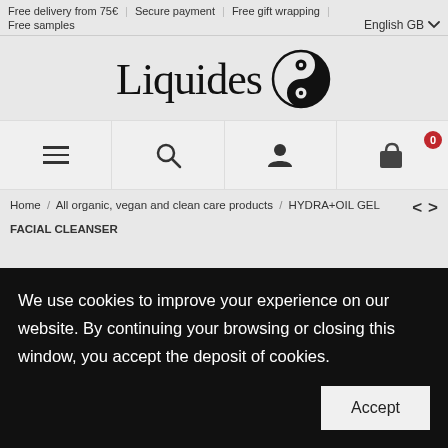Free delivery from 75€ | Secure payment | Free gift wrapping | Free samples
English GB
[Figure (logo): Liquides brand logo with yin-yang style circular icon]
[Figure (infographic): Navigation bar with hamburger menu, search, user account, and shopping bag (0 items) icons]
Home / All organic, vegan and clean care products / HYDRA+OIL GEL FACIAL CLEANSER
We use cookies to improve your experience on our website. By continuing your browsing or closing this window, you accept the deposit of cookies.